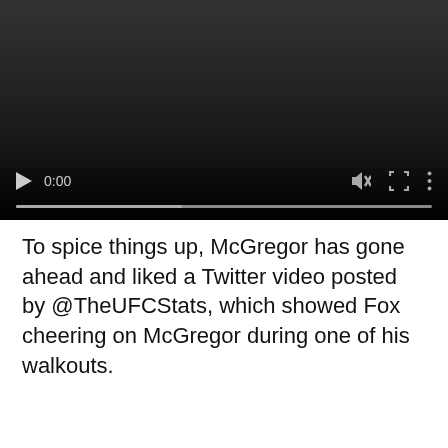[Figure (screenshot): Embedded video player with dark background, showing controls: play button, timestamp '0:00', mute icon, fullscreen icon, and more options icon. A progress bar is shown at the bottom of the player.]
To spice things up, McGregor has gone ahead and liked a Twitter video posted by @TheUFCStats, which showed Fox cheering on McGregor during one of his walkouts.